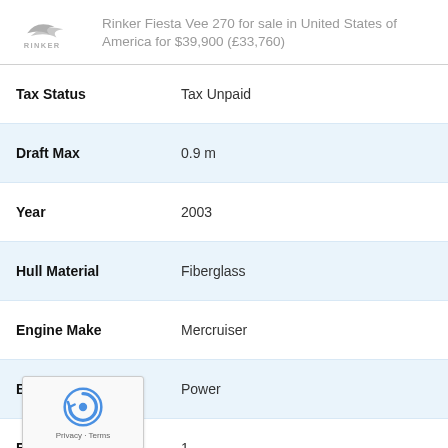Rinker Fiesta Vee 270 for sale in United States of America for $39,900 (£33,760)
| Field | Value |
| --- | --- |
| Tax Status | Tax Unpaid |
| Draft Max | 0.9 m |
| Year | 2003 |
| Hull Material | Fiberglass |
| Engine Make | Mercruiser |
| Boat Type | Power |
| Engine Count | 1 |
| RB Ref | RB387722 |
| Fuel | Gasoline |
| Cabins | 2 |
| Berths | 2 |